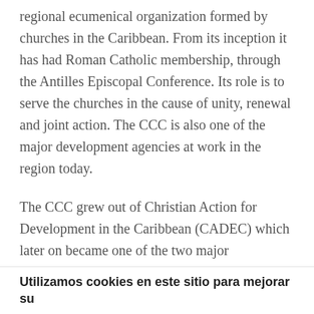regional ecumenical organization formed by churches in the Caribbean. From its inception it has had Roman Catholic membership, through the Antilles Episcopal Conference. Its role is to serve the churches in the cause of unity, renewal and joint action. The CCC is also one of the major development agencies at work in the region today.
The CCC grew out of Christian Action for Development in the Caribbean (CADEC) which later on became one of the two major departments of the CCC. The other was Action for the Renewal of the Churches (ARC). The founding assembly of the CCC took place in 1973, in Kingston, Jamaica. The preamble of its constitution reads: "We are Christians, members of the Caribbean...
Utilizamos cookies en este sitio para mejorar su